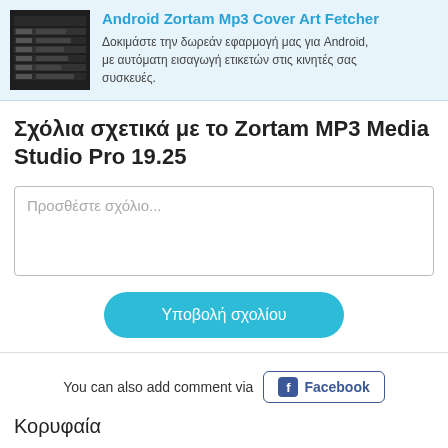[Figure (screenshot): Android Zortam Mp3 Cover Art Fetcher app screenshot showing a dark file browser interface]
Android Zortam Mp3 Cover Art Fetcher
Δοκιμάστε την δωρεάν εφαρμογή μας για Android, με αυτόματη εισαγωγή ετικετών στις κινητές σας συσκευές.
Σχόλια σχετικά με το Zortam MP3 Media Studio Pro 19.25
Προσθέστε σχόλιο...
Υποβολή σχολίου
You can also add comment via
Facebook
Κορυφαία